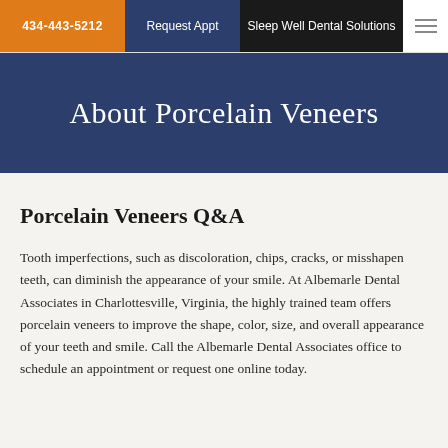434-443-5212 | Request Appt | Sleep Well Dental Solutions
About Porcelain Veneers
Porcelain Veneers Q&A
Tooth imperfections, such as discoloration, chips, cracks, or misshapen teeth, can diminish the appearance of your smile. At Albemarle Dental Associates in Charlottesville, Virginia, the highly trained team offers porcelain veneers to improve the shape, color, size, and overall appearance of your teeth and smile. Call the Albemarle Dental Associates office to schedule an appointment or request one online today.